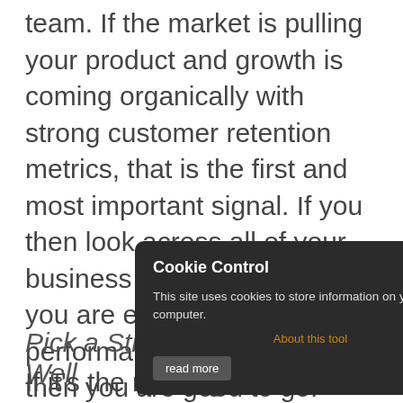team. If the market is pulling your product and growth is coming organically with strong customer retention metrics, that is the first and most important signal. If you then look across all of your business functions and feel you are executing at a 70% performance level or above, then you are good to go. Don't wait to achieve perfection (you never will), but be wary of flicking on the growth switch if you have any major shortcomings in your foundations. And if you find these shortcomings, fix them fast!
[Figure (screenshot): Cookie Control popup overlay with dark background. Title: 'Cookie Control' with an X close button. Body text: 'This site uses cookies to store information on your computer.' Link: 'About this tool'. Button: 'read more'.]
Pick a Strategy and Execute Well
If it's the time to go for scale, the next question is how? Having the right scaling